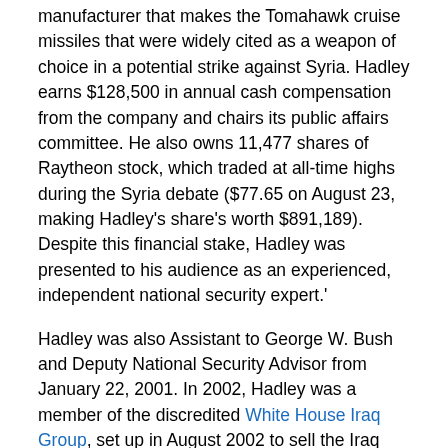manufacturer that makes the Tomahawk cruise missiles that were widely cited as a weapon of choice in a potential strike against Syria. Hadley earns $128,500 in annual cash compensation from the company and chairs its public affairs committee. He also owns 11,477 shares of Raytheon stock, which traded at all-time highs during the Syria debate ($77.65 on August 23, making Hadley's share's worth $891,189). Despite this financial stake, Hadley was presented to his audience as an experienced, independent national security expert.'
Hadley was also Assistant to George W. Bush and Deputy National Security Advisor from January 22, 2001. In 2002, Hadley was a member of the discredited White House Iraq Group, set up in August 2002 to sell the Iraq war to the American public.